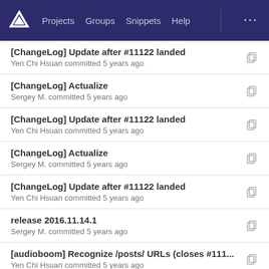Projects  Groups  Snippets  Help
[ChangeLog] Update after #11122 landed
Yen Chi Hsuan committed 5 years ago
[ChangeLog] Actualize
Sergey M. committed 5 years ago
[ChangeLog] Update after #11122 landed
Yen Chi Hsuan committed 5 years ago
[ChangeLog] Actualize
Sergey M. committed 5 years ago
[ChangeLog] Update after #11122 landed
Yen Chi Hsuan committed 5 years ago
release 2016.11.14.1
Sergey M. committed 5 years ago
[audioboom] Recognize /posts/ URLs (closes #111...
Yen Chi Hsuan committed 5 years ago